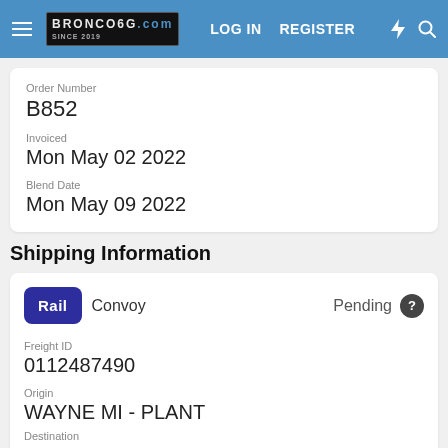BRONCO6G.COM — LOG IN  REGISTER
Order Number
B852
Invoiced
Mon May 02 2022
Blend Date
Mon May 09 2022
Shipping Information
Rail  Convoy  Pending
Freight ID
0112487490
Origin
WAYNE MI - PLANT
Destination